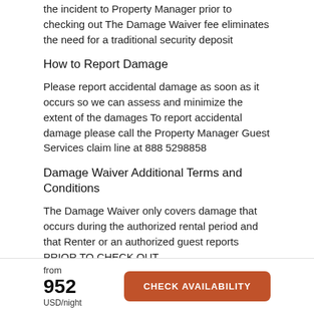the incident to Property Manager prior to checking out The Damage Waiver fee eliminates the need for a traditional security deposit
How to Report Damage
Please report accidental damage as soon as it occurs so we can assess and minimize the extent of the damages To report accidental damage please call the Property Manager Guest Services claim line at 888 5298858
Damage Waiver Additional Terms and Conditions
The Damage Waiver only covers damage that occurs during the authorized rental period and that Renter or an authorized guest reports PRIOR TO CHECK OUT
The Damage Waiver does not cover intentional damage or damage caused by smoking pets or other animals
from 952 USD/night CHECK AVAILABILITY